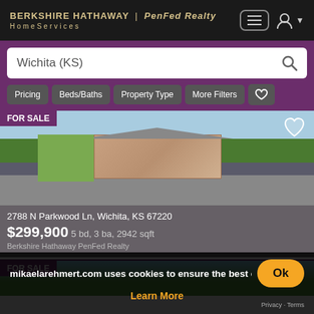BERKSHIRE HATHAWAY | PenFed Realty HomeServices
Wichita (KS)
Pricing
Beds/Baths
Property Type
More Filters
[Figure (photo): Exterior photo of house at 2788 N Parkwood Ln, Wichita KS]
FOR SALE
2788 N Parkwood Ln, Wichita, KS 67220
$299,900 5 bd, 3 ba, 2942 sqft
Berkshire Hathaway PenFed Realty
[Figure (photo): Exterior photo of second house listing, FOR SALE]
mikaelarehmert.com uses cookies to ensure the best experie Learn More
Ok